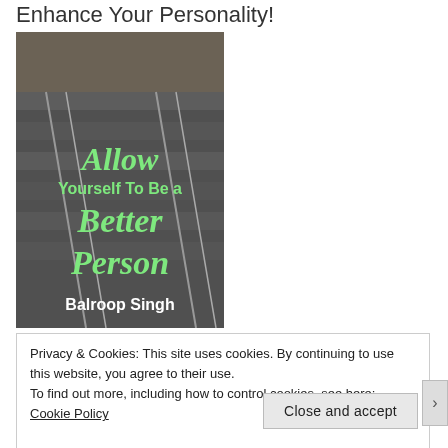Enhance Your Personality!
[Figure (photo): Book cover titled 'Allow Yourself To Be a Better Person' by Balroop Singh, showing stairs in background with green italic text overlay]
Privacy & Cookies: This site uses cookies. By continuing to use this website, you agree to their use.
To find out more, including how to control cookies, see here:
Cookie Policy
Close and accept